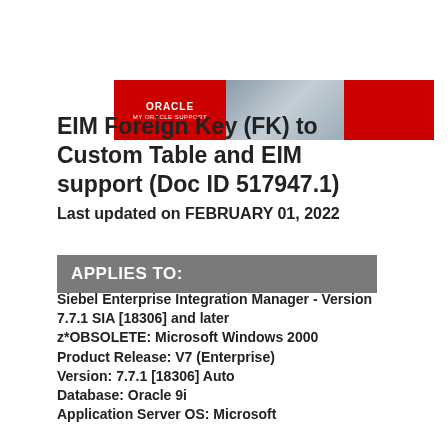[Figure (logo): Oracle My Oracle Support banner with red left panel showing Oracle logo text, a center photo panel showing a person, and a red right panel]
EIM Foreign Key (FK) to Custom Table and EIM support (Doc ID 517947.1)
Last updated on FEBRUARY 01, 2022
APPLIES TO:
Siebel Enterprise Integration Manager - Version 7.7.1 SIA [18306] and later
z*OBSOLETE: Microsoft Windows 2000
Product Release: V7 (Enterprise)
Version: 7.7.1 [18306] Auto
Database: Oracle 9i
Application Server OS: Microsoft